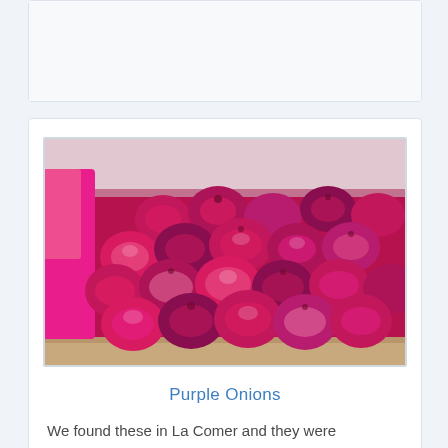[Figure (photo): Partially visible white card at top of page]
[Figure (photo): Photo of a large wooden crate filled with many purple/red onions stacked in a supermarket or market setting. A pink/magenta shopping bag is visible at the top left.]
Purple Onions
We found these in La Comer and they were